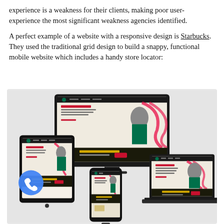experience is a weakness for their clients, making poor user-experience the most significant weakness agencies identified.
A perfect example of a website with a responsive design is Starbucks. They used the traditional grid design to build a snappy, functional mobile website which includes a handy store locator:
[Figure (screenshot): Screenshot of Starbucks website shown across multiple devices: a large desktop monitor, a tablet, a smartphone, and a laptop, all displaying the Starbucks responsive website with 'Treat receipt is back.' promotional content and a Starbucks employee in green apron. A blue phone/call button icon is visible on the left side.]